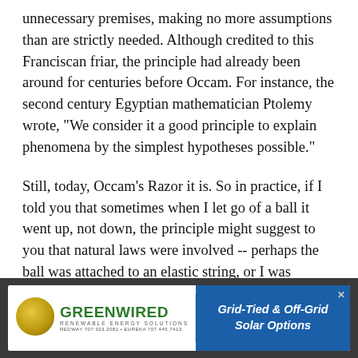unnecessary premises, making no more assumptions than are strictly needed. Although credited to this Franciscan friar, the principle had already been around for centuries before Occam. For instance, the second century Egyptian mathematician Ptolemy wrote, "We consider it a good principle to explain phenomena by the simplest hypotheses possible."
Still, today, Occam's Razor it is. So in practice, if I told you that sometimes when I let go of a ball it went up, not down, the principle might suggest to you that natural laws were involved -- perhaps the ball was attached to an elastic string, or I was underwater, or I was lying -- rather than bringing in some additional assumption (involving, perhaps, an antigravity device).
[Figure (other): Advertisement banner for Greenwired Renewable Energy Solutions with logo (gold circle), green brand name text, and blue panel with text 'Grid-Tied & Off-Grid Solar Options']